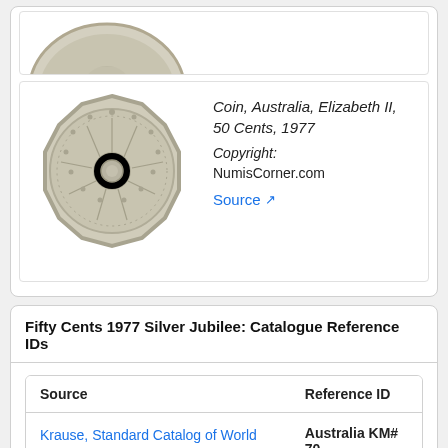[Figure (photo): Top portion of coin (obverse) partially visible, cropped]
[Figure (photo): Coin, Australia, Elizabeth II, 50 Cents, 1977 - reverse showing decorative pattern with sun motif]
Coin, Australia, Elizabeth II, 50 Cents, 1977 Copyright: NumisCorner.com Source [external link]
Fifty Cents 1977 Silver Jubilee: Catalogue Reference IDs
| Source | Reference ID |
| --- | --- |
| Krause, Standard Catalog of World Coins | Australia KM# 70 |